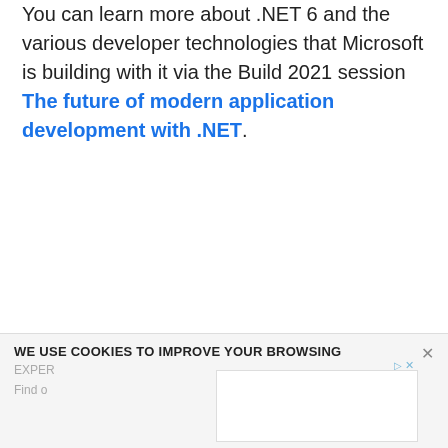You can learn more about .NET 6 and the various developer technologies that Microsoft is building with it via the Build 2021 session The future of modern application development with .NET.
WE USE COOKIES TO IMPROVE YOUR BROWSING EXPER... Find o...